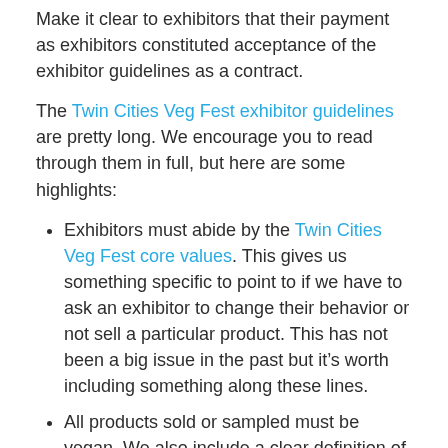Make it clear to exhibitors that their payment as exhibitors constituted acceptance of the exhibitor guidelines as a contract.
The Twin Cities Veg Fest exhibitor guidelines are pretty long. We encourage you to read through them in full, but here are some highlights:
Exhibitors must abide by the Twin Cities Veg Fest core values. This gives us something specific to point to if we have to ask an exhibitor to change their behavior or not sell a particular product. This has not been a big issue in the past but it’s worth including something along these lines.
All products sold or sampled must be vegan. We also include a clear definition of vegan and tell exhibitors that we will ask them to remove inappropriate products.
Exhibitors must use compostable plates, utensils, etc. This is tough to enforce without kicking someone out (which we don’t want to do), but we’ve been pretty successful at communicating this to exhibitors.